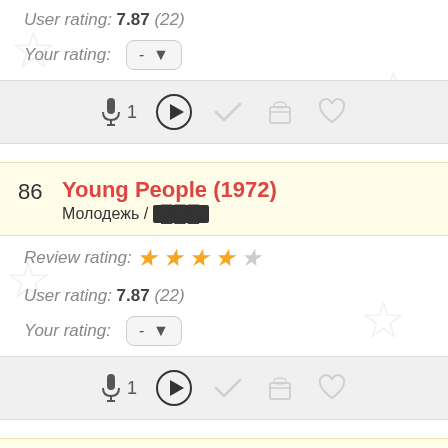User rating: 7.87 (22)
Your rating: -
🎤 1 [play] [check] [bucket] [heart]
86 Young People (1972) / Молодежь / [censored]
Review rating: 4/5 stars
User rating: 7.87 (22)
Your rating: -
🎤 1 [play] [check] [bucket] [heart]
87 Love in the Buff (2012) / Любовь в клубах дыма 2 / [censored]